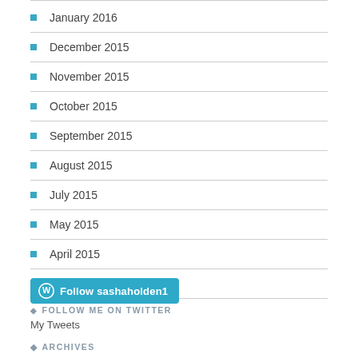January 2016
December 2015
November 2015
October 2015
September 2015
August 2015
July 2015
May 2015
April 2015
March 2015
[Figure (other): Follow sashaholden1 button on WordPress]
FOLLOW ME ON TWITTER
My Tweets
ARCHIVES